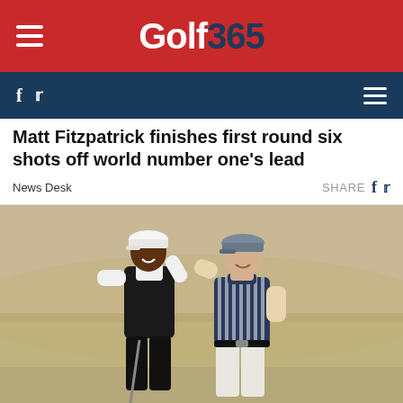Golf 365
Matt Fitzpatrick finishes first round six shots off world number one's lead
News Desk    SHARE
[Figure (photo): Two golfers on a fairway, one wearing black vest and white long sleeve shirt with white cap (Tiger Woods), the other in a navy striped polo with grey cap (Matt Fitzpatrick), both smiling and waving/high-fiving on a golf course.]